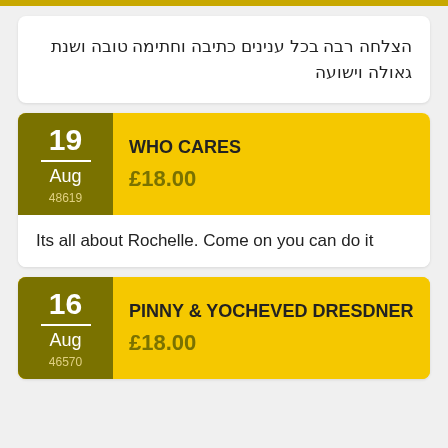הצלחה רבה בכל ענינים כתיבה וחתימה טובה ושנת גאולה וישועה
WHO CARES
£18.00
19 Aug 48619
Its all about Rochelle. Come on you can do it
PINNY & YOCHEVED DRESDNER
£18.00
16 Aug 46570